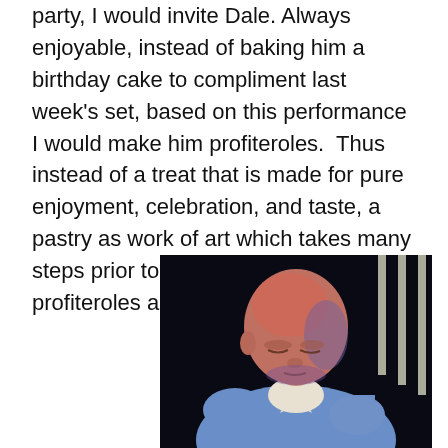party, I would invite Dale. Always enjoyable, instead of baking him a birthday cake to compliment last week's set, based on this performance I would make him profiteroles. Thus instead of a treat that is made for pure enjoyment, celebration, and taste, a pastry as work of art which takes many steps prior to presentation (and I like profiteroles a lot).
[Figure (photo): A bald man in a blue short-sleeve shirt looking downward, lit with red/blue stage lighting against a dark background with vertical white bars visible on the right.]